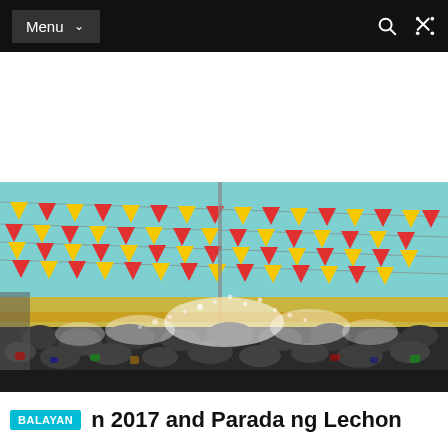Menu
[Figure (photo): A crowd festival scene with colorful red and yellow bunting flags strung across a street, with people below and water being sprayed into the air.]
BALAYAN n 2017 and Parada ng Lechon